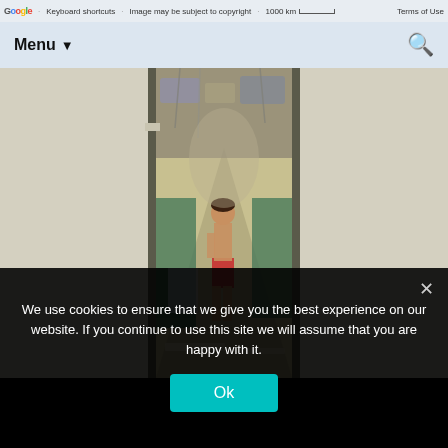Keyboard shortcuts · Image may be subject to copyright · 1000 km · Terms of Use
Menu ▼  [search icon]
[Figure (photo): Interior view of a train corridor/aisle photographed through a doorway. The corridor stretches into the distance with seats on both sides, bags and luggage overhead, and a person (child) visible in the middle of the aisle. The lighting is bright inside with light-colored walls and green seat upholstery.]
We use cookies to ensure that we give you the best experience on our website. If you continue to use this site we will assume that you are happy with it.